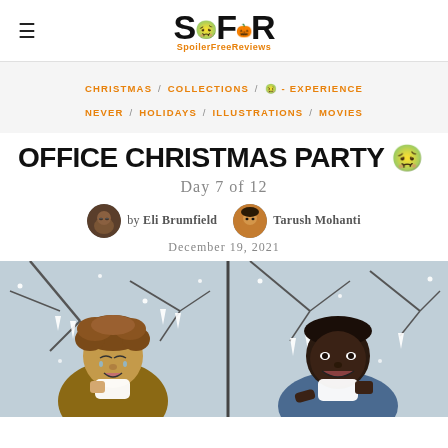SFR SpoilerFreeReviews
CHRISTMAS / COLLECTIONS / 🤢 - EXPERIENCE NEVER / HOLIDAYS / ILLUSTRATIONS / MOVIES
OFFICE CHRISTMAS PARTY 🤢
Day 7 of 12
by Eli Brumfield   Tarush Mohanti
December 19, 2021
[Figure (illustration): Comic illustration showing two characters in a snowy winter scene with bare trees and icicles. Left panel shows a person with curly brown hair crying/sick holding a tissue. Right panel shows a dark-skinned person also appearing sick/distressed holding a tissue.]